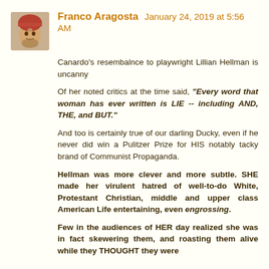[Figure (photo): Avatar/profile photo of Franco Aragosta, showing an older person with a reddish hat or headwear]
Franco Aragosta January 24, 2019 at 5:56 AM
Canardo's resembalnce to playwright Lillian Hellman is uncanny
Of her noted critics at the time said, "Every word that woman has ever written is LIE -- including AND, THE, and BUT."
And too is certainly true of our darling Ducky, even if he never did win a Pulitzer Prize for HIS notably tacky brand of Communist Propaganda.
Hellman was more clever and more subtle. SHE made her virulent hatred of well-to-do White, Protestant Christian, middle and upper class American Life entertaining, even engrossing.
Few in the audiences of HER day realized she was in fact skewering them, and roasting them alive while they THOUGHT they were